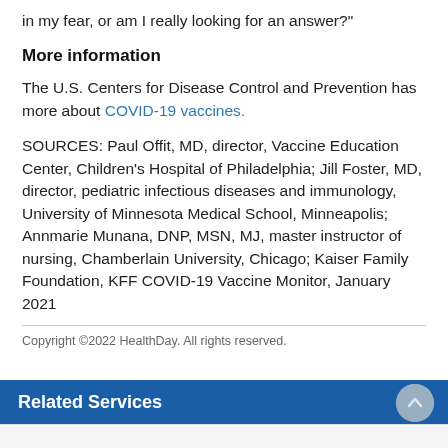in my fear, or am I really looking for an answer?"
More information
The U.S. Centers for Disease Control and Prevention has more about COVID-19 vaccines.
SOURCES: Paul Offit, MD, director, Vaccine Education Center, Children's Hospital of Philadelphia; Jill Foster, MD, director, pediatric infectious diseases and immunology, University of Minnesota Medical School, Minneapolis; Annmarie Munana, DNP, MSN, MJ, master instructor of nursing, Chamberlain University, Chicago; Kaiser Family Foundation, KFF COVID-19 Vaccine Monitor, January 2021
Copyright ©2022 HealthDay. All rights reserved.
Related Services